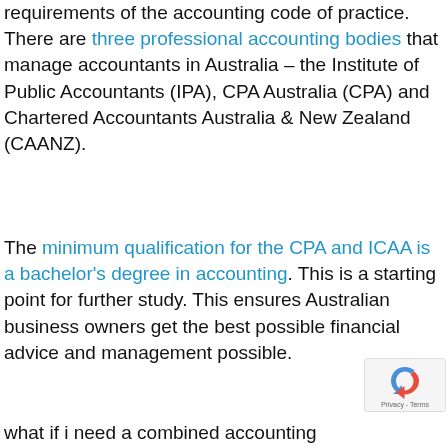requirements of the accounting code of practice. There are three professional accounting bodies that manage accountants in Australia – the Institute of Public Accountants (IPA), CPA Australia (CPA) and Chartered Accountants Australia & New Zealand (CAANZ).
The minimum qualification for the CPA and ICAA is a bachelor's degree in accounting. This is a starting point for further study. This ensures Australian business owners get the best possible financial advice and management possible.
what if i need a combined accounting